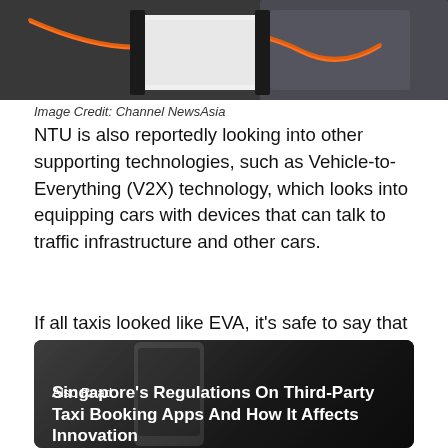[Figure (photo): Close-up photo of a car interior showing an orange cable and a white device, likely a technology component or tablet, on a dark seat.]
Image Credit: Channel NewsAsia
NTU is also reportedly looking into other supporting technologies, such as Vehicle-to-Everything (V2X) technology, which looks into equipping cars with devices that can talk to traffic infrastructure and other cars.
If all taxis looked like EVA, it’s safe to say that it’s going to be a sweet future we’re looking at.
[Figure (photo): Photo of a smartphone being held, with dark background. Contains overlay text 'Also Read' and article title 'Singapore’s Regulations On Third-Party Taxi Booking Apps And How It Affects Innovation'.]